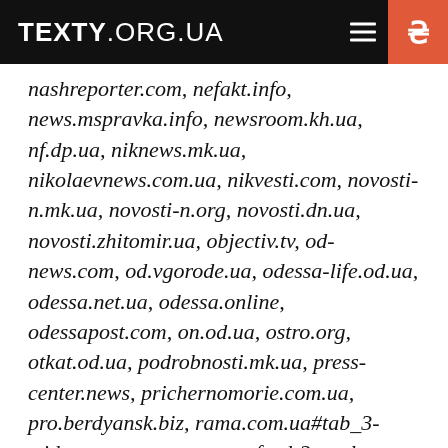TEXTY.ORG.UA
nashreporter.com, nefakt.info, news.mspravka.info, newsroom.kh.ua, nf.dp.ua, niknews.mk.ua, nikolaevnews.com.ua, nikvesti.com, novosti-n.mk.ua, novosti-n.org, novosti.dn.ua, novosti.zhitomir.ua, objectiv.tv, od-news.com, od.vgorode.ua, odessa-life.od.ua, odessa.net.ua, odessa.online, odessapost.com, on.od.ua, ostro.org, otkat.od.ua, podrobnosti.mk.ua, press-center.news, prichernomorie.com.ua, pro.berdyansk.biz, rama.com.ua#tab_3-widget_panorama_posts_feed-2, real-